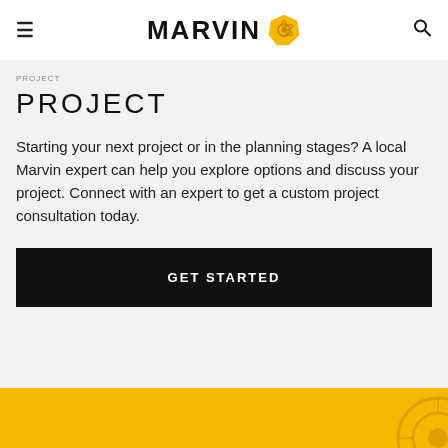MARVIN
PROJECT
Starting your next project or in the planning stages? A local Marvin expert can help you explore options and discuss your project. Connect with an expert to get a custom project consultation today.
GET STARTED
[Figure (other): Yellow/gold banner at the bottom of the page with a partial icon in the bottom right corner]